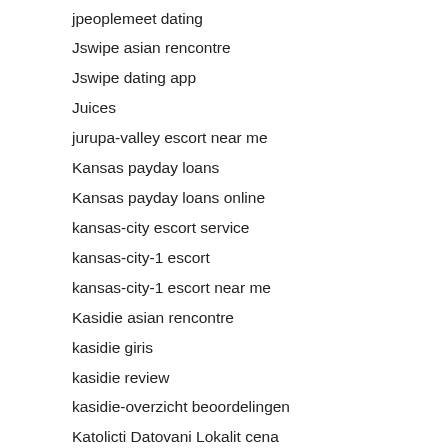jpeoplemeet dating
Jswipe asian rencontre
Jswipe dating app
Juices
jurupa-valley escort near me
Kansas payday loans
Kansas payday loans online
kansas-city escort service
kansas-city-1 escort
kansas-city-1 escort near me
Kasidie asian rencontre
kasidie giris
kasidie review
kasidie-overzicht beoordelingen
Katolicti Datovani Lokalit cena
katolik-tarihleme alan
kent best escort sites
kenyancupid italia